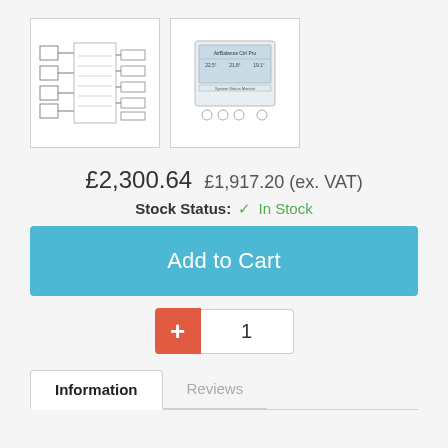[Figure (screenshot): Two product thumbnail images side by side: left shows an engineering/wiring diagram, right shows a control panel display unit]
£2,300.64  £1,917.20 (ex. VAT)
Stock Status: ✓ In Stock
Add to Cart
1
Information
Reviews